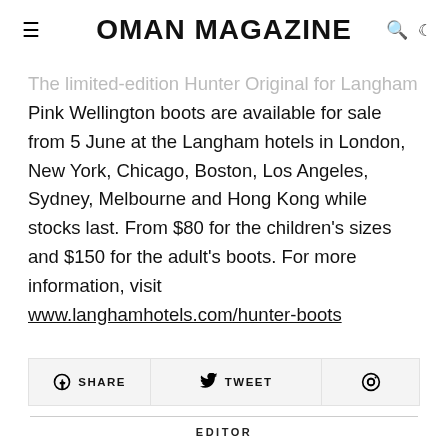OMAN MAGAZINE
The limited-edition Hunter Original for Langham Pink Wellington boots are available for sale from 5 June at the Langham hotels in London, New York, Chicago, Boston, Los Angeles, Sydney, Melbourne and Hong Kong while stocks last. From $80 for the children's sizes and $150 for the adult's boots. For more information, visit www.langhamhotels.com/hunter-boots
EDITOR